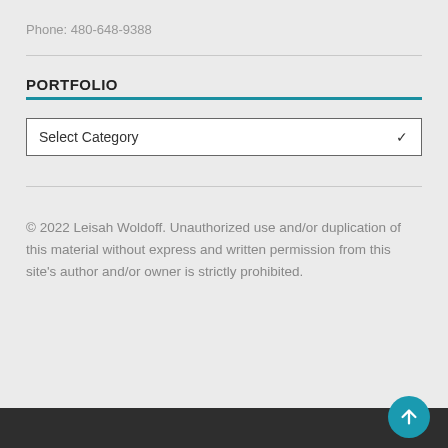Phone: 480-648-9388
PORTFOLIO
[Figure (other): Select Category dropdown widget]
© 2022 Leisah Woldoff. Unauthorized use and/or duplication of this material without express and written permission from this site's author and/or owner is strictly prohibited.